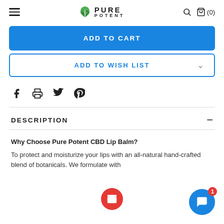PURE POTENT — navigation header with hamburger menu, logo, search and cart (0)
ADD TO CART
ADD TO WISH LIST
[Figure (other): Social sharing icons: Facebook, Print, Twitter, Pinterest]
DESCRIPTION
Why Choose Pure Potent CBD Lip Balm?
To protect and moisturize your lips with an all-natural hand-crafted blend of botanicals. We formulate with